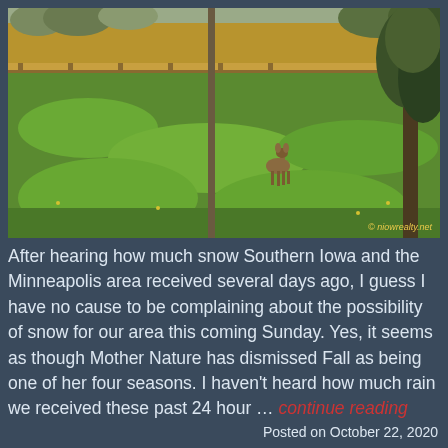[Figure (photo): A deer standing in a green grassy field with a wooden fence and golden/tan wheat field in the background, a utility pole in the foreground, trees on the right side. Watermark reads '© niowrealty.net' in yellow text at bottom right.]
After hearing how much snow Southern Iowa and the Minneapolis area received several days ago, I guess I have no cause to be complaining about the possibility of snow for our area this coming Sunday. Yes, it seems as though Mother Nature has dismissed Fall as being one of her four seasons. I haven't heard how much rain we received these past 24 hour … continue reading
Posted on October 22, 2020